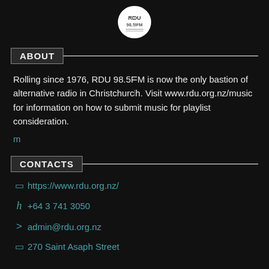[Figure (logo): RDU 98.5FM radio station logo in a white circle on black background]
ABOUT
Rolling since 1976, RDU 98.5FM is now the only bastion of alternative radio in Christchurch. Visit www.rdu.org.nz/music for information on how to submit music for playlist consideration.
m
CONTACTS
https://www.rdu.org.nz/
+64 3 741 3050
admin@rdu.org.nz
270 Saint Asaph Street